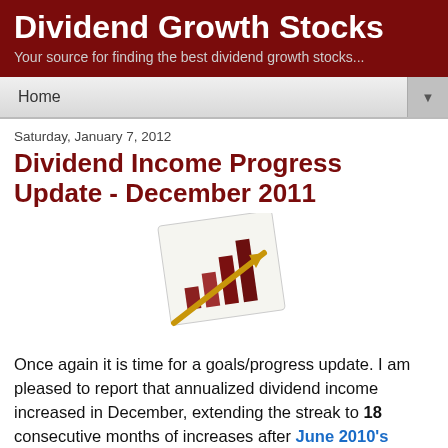Dividend Growth Stocks
Your source for finding the best dividend growth stocks...
Home
Saturday, January 7, 2012
Dividend Income Progress Update - December 2011
[Figure (illustration): A bar chart icon showing rising bars in brown/red tones with a gold arrow pointing upward, tilted at an angle on a white card background]
Once again it is time for a goals/progress update. I am pleased to report that annualized dividend income increased in December, extending the streak to 18 consecutive months of increases after June 2010's decline. Since I began publicly tracking annualized dividend income in November